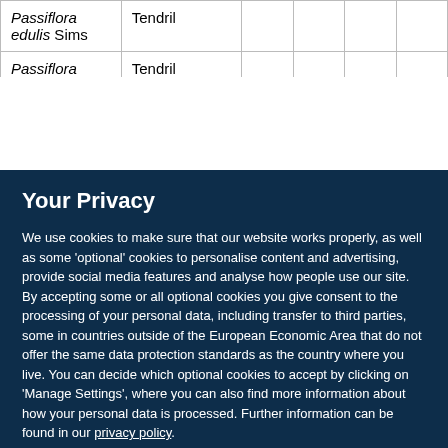| Passiflora edulis Sims | Tendril |  |  |  |  |
| Passiflora | Tendril |  |  |  |  |
Your Privacy
We use cookies to make sure that our website works properly, as well as some 'optional' cookies to personalise content and advertising, provide social media features and analyse how people use our site. By accepting some or all optional cookies you give consent to the processing of your personal data, including transfer to third parties, some in countries outside of the European Economic Area that do not offer the same data protection standards as the country where you live. You can decide which optional cookies to accept by clicking on 'Manage Settings', where you can also find more information about how your personal data is processed. Further information can be found in our privacy policy.
Accept all cookies
Manage preferences